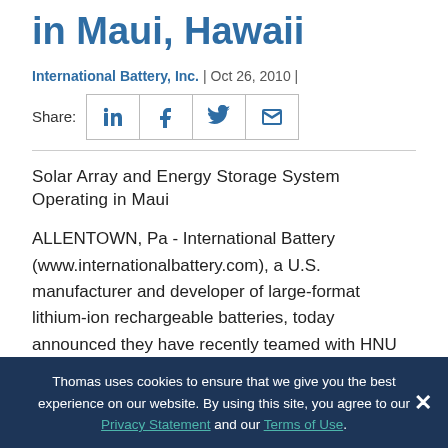in Maui, Hawaii
International Battery, Inc. | Oct 26, 2010 |
[Figure (infographic): Social share buttons: LinkedIn, Facebook, Twitter, Email]
Solar Array and Energy Storage System Operating in Maui
ALLENTOWN, Pa - International Battery (www.internationalbattery.com), a U.S. manufacturer and developer of large-format lithium-ion rechargeable batteries, today announced they have recently teamed with HNU Energy (www.hnuenergy.com) to participate in a solar power generation and energy storage project in Maui, Hawaii. The project, recently put into operation, will assess the
Thomas uses cookies to ensure that we give you the best experience on our website. By using this site, you agree to our Privacy Statement and our Terms of Use.